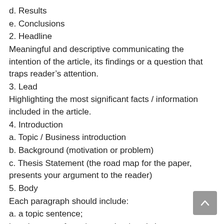d. Results
e. Conclusions
2. Headline
Meaningful and descriptive communicating the intention of the article, its findings or a question that traps reader's attention.
3. Lead
Highlighting the most significant facts / information included in the article.
4. Introduction
a. Topic / Business introduction
b. Background (motivation or problem)
c. Thesis Statement (the road map for the paper, presents your argument to the reader)
5. Body
Each paragraph should include:
a. a topic sentence;
b. at least two facts / examples / statistics;
c. at least one commentary / insight /analysis.